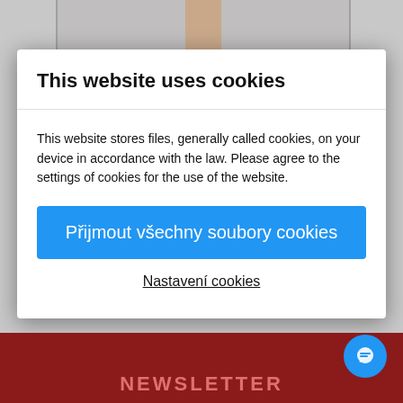This website uses cookies
This website stores files, generally called cookies, on your device in accordance with the law. Please agree to the settings of cookies for the use of the website.
Přijmout všechny soubory cookies
Nastavení cookies
NEWSLETTER